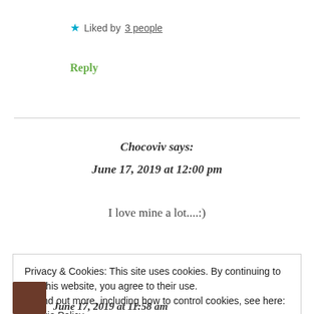★ Liked by 3 people
Reply
Chocoviv says: June 17, 2019 at 12:00 pm
I love mine a lot....:)
★ Liked by 1 person
Privacy & Cookies: This site uses cookies. By continuing to use this website, you agree to their use.
To find out more, including how to control cookies, see here: Cookie Policy
Close and accept
June 17, 2019 at 11:58 am